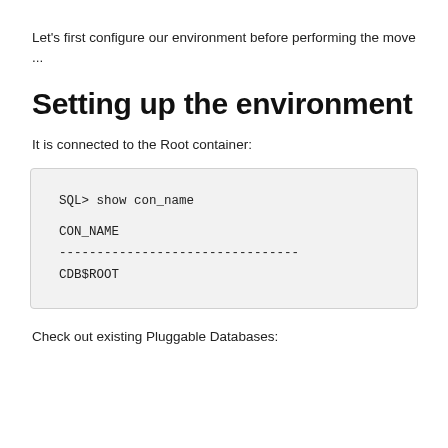Let's first configure our environment before performing the move ...
Setting up the environment
It is connected to the Root container:
SQL> show con_name

CON_NAME
--------------------------------
CDB$ROOT
Check out existing Pluggable Databases: